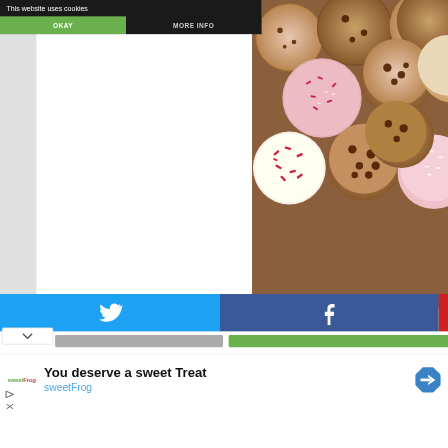This website uses cookies
OKAY
MORE INFO
[Figure (photo): Assorted cookies including pink frosted cookies with sprinkles, chocolate chip cookies, red velvet white chocolate cookies, and various other baked cookies piled together.]
[Figure (screenshot): Twitter share button (bird icon) on cyan/blue background and Facebook share button (f icon) on dark blue background, side by side as social sharing buttons.]
You deserve a sweet Treat
sweetFrog